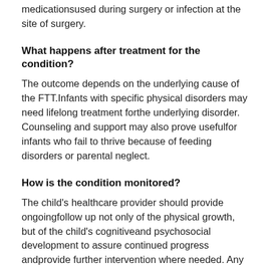medicationsused during surgery or infection at the site of surgery.
What happens after treatment for the condition?
The outcome depends on the underlying cause of the FTT.Infants with specific physical disorders may need lifelong treatment forthe underlying disorder. Counseling and support may also prove usefulfor infants who fail to thrive because of feeding disorders or parental neglect.
How is the condition monitored?
The child's healthcare provider should provide ongoingfollow up not only of the physical growth, but of the child's cognitiveand psychosocial development to assure continued progress andprovide further intervention where needed. Any new or worsening symptomsshould be reported to the healthcare